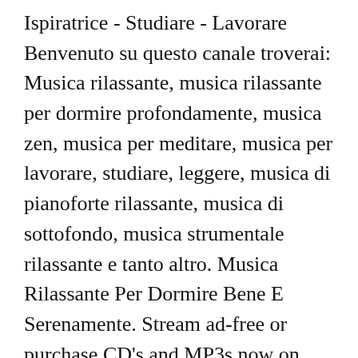Ispiratrice - Studiare - Lavorare Benvenuto su questo canale troverai: Musica rilassante, musica rilassante per dormire profondamente, musica zen, musica per meditare, musica per lavorare, studiare, leggere, musica di pianoforte rilassante, musica di sottofondo, musica strumentale rilassante e tanto altro. Musica Rilassante Per Dormire Bene E Serenamente. Stream ad-free or purchase CD's and MP3s now on Amazon.co.uk. Relaxing Piano Music Consort      Pausa Relax: Musica Italiana Incredibilmente Rilassante per la Concentrazione, per Studiare o per Lavorare     Relaxing Piano Music Consort          Musica per Spa - Bien Dormir, 4. Listen